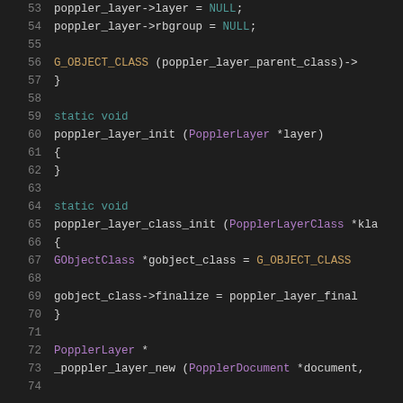Code listing showing C source code for poppler layer functions, lines 53-73
53    poppler_layer->layer = NULL;
54    poppler_layer->rbgroup = NULL;
55
56    G_OBJECT_CLASS (poppler_layer_parent_class)->
57  }
58
59  static void
60  poppler_layer_init (PopplerLayer *layer)
61  {
62  }
63
64  static void
65  poppler_layer_class_init (PopplerLayerClass *kla
66  {
67    GObjectClass *gobject_class = G_OBJECT_CLASS
68
69    gobject_class->finalize = poppler_layer_final
70  }
71
72  PopplerLayer *
73  _poppler_layer_new (PopplerDocument *document,